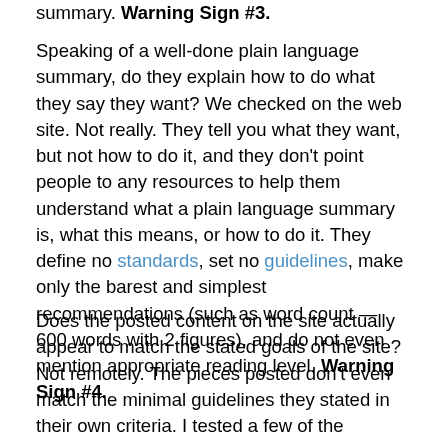summary. Warning Sign #3.
Speaking of a well-done plain language summary, do they explain how to do what they say they want? We checked on the web site. Not really. They tell you what they want, but not how to do it, and they don't point people to any resources to help them understand what a plain language summary is, what this means, or how to do it. They define no standards, set no guidelines, make only the barest and simplest recommendations (such as word count — 600 words with 2 figures), and do not even mention appropriate reading level. Warning Sign #4.
Does the posted content on the site actually appear to match the stated goals of the site? Not remotely. The pieces posted don't even match the minimal guidelines they stated in their own criteria. I tested a few of the